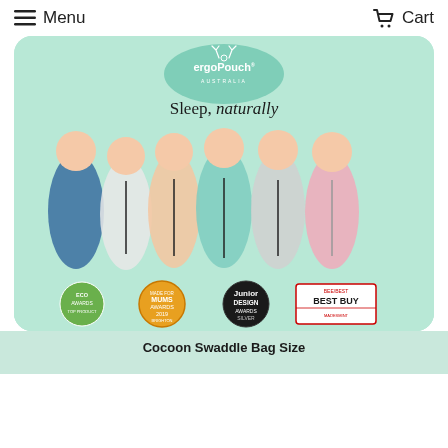Menu   Cart
[Figure (photo): ergoPouch Australia product banner showing six babies in colorful swaddle bags with text 'Sleep, naturally' and four award badges: ECO Awards Top Product, Made For Mums Awards 2019 Brighton, Junior Design Awards Silver, MadesMint Best Buy]
Cocoon Swaddle Bag Size